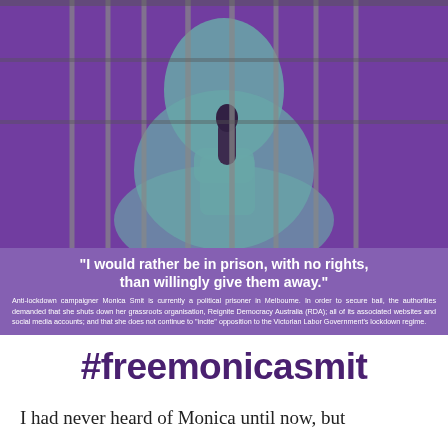[Figure (photo): A woman with long blonde hair speaking into a microphone, overlaid with a purple and mint/teal duotone colour effect, with vertical prison bar lines superimposed over the image.]
"I would rather be in prison, with no rights, than willingly give them away."
Anti-lockdown campaigner Monica Smit is currently a political prisoner in Melbourne. In order to secure bail, the authorities demanded that she shuts down her grassroots organisation, Reignite Democracy Australia (RDA); all of its associated websites and social media accounts; and that she does not continue to "incite" opposition to the Victorian Labor Government's lockdown regime.
#freemonicasmit
I had never heard of Monica until now, but